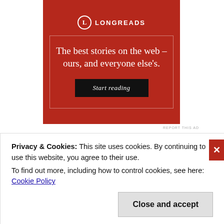[Figure (infographic): Longreads advertisement banner with red background, logo, tagline 'The best stories on the web – ours, and everyone else's.' and a 'Start reading' button]
REPORT THIS AD
Posted in Reviews / Tagged 2020, Book Review, Ekpeki Oghenechovwe Donald, Fantasy, Horror, Original Anthology, Recommended, Science Fiction, Short Fiction, Zelda Knight / 4 Comments
Privacy & Cookies: This site uses cookies. By continuing to use this website, you agree to their use.
To find out more, including how to control cookies, see here: Cookie Policy
Close and accept